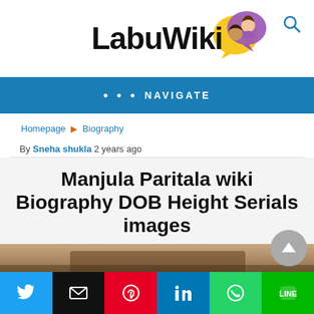LabuWiki
••• NAVIGATE
Homepage ▶ Biography
By Sneha shukla 2 years ago
Manjula Paritala wiki Biography DOB Height Serials images
[Figure (photo): Partial photo of Manjula Paritala at bottom of page]
[Figure (infographic): Social share buttons row: Twitter, Email, Pinterest, LinkedIn, WhatsApp, Line]